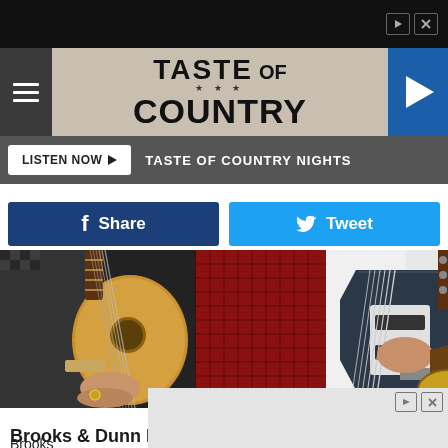[Figure (screenshot): Top black advertisement bar with ad icons]
TASTE OF COUNTRY
LISTEN NOW ▶  TASTE OF COUNTRY NIGHTS
Share  Tweet
[Figure (photo): Two guitarists playing guitars on stage against a red grid background. Left shows acoustic guitar, right shows electric guitar.]
Rick Diamond, Getty Images
Brooks & Dunn Break Up
Brooks                                                              ring